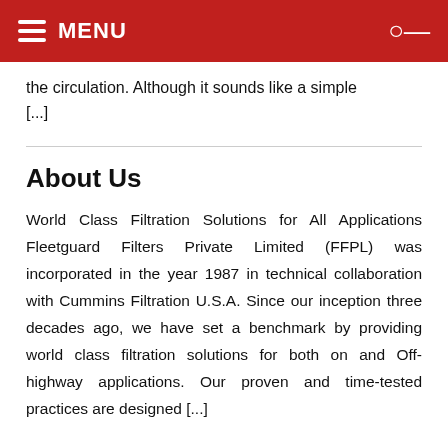MENU
the circulation. Although it sounds like a simple [...]
About Us
World Class Filtration Solutions for All Applications Fleetguard Filters Private Limited (FFPL) was incorporated in the year 1987 in technical collaboration with Cummins Filtration U.S.A. Since our inception three decades ago, we have set a benchmark by providing world class filtration solutions for both on and Off-highway applications. Our proven and time-tested practices are designed [...]